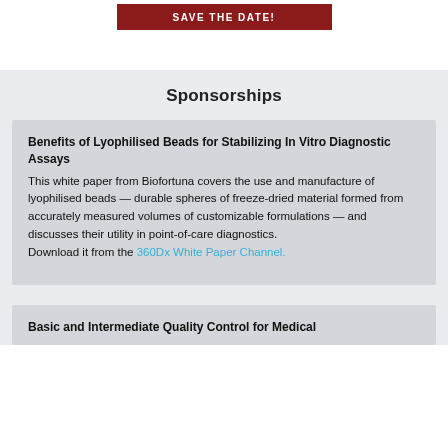[Figure (other): Dark red 'SAVE THE DATE!' banner button at top of page]
Sponsorships
Benefits of Lyophilised Beads for Stabilizing In Vitro Diagnostic Assays
This white paper from Biofortuna covers the use and manufacture of lyophilised beads — durable spheres of freeze-dried material formed from accurately measured volumes of customizable formulations — and discusses their utility in point-of-care diagnostics.
Download it from the 360Dx White Paper Channel.
Basic and Intermediate Quality Control for Medical